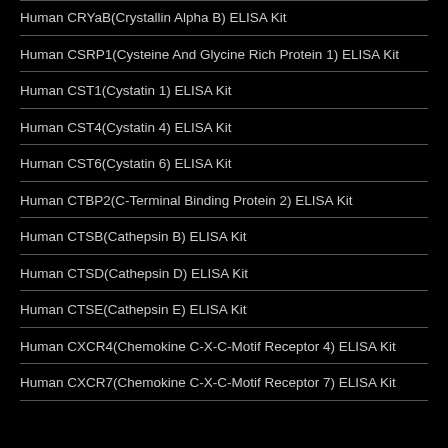Human CRYaB(Crystallin Alpha B) ELISA Kit
Human CSRP1(Cysteine And Glycine Rich Protein 1) ELISA Kit
Human CST1(Cystatin 1) ELISA Kit
Human CST4(Cystatin 4) ELISA Kit
Human CST6(Cystatin 6) ELISA Kit
Human CTBP2(C-Terminal Binding Protein 2) ELISA Kit
Human CTSB(Cathepsin B) ELISA Kit
Human CTSD(Cathepsin D) ELISA Kit
Human CTSE(Cathepsin E) ELISA Kit
Human CXCR4(Chemokine C-X-C-Motif Receptor 4) ELISA Kit
Human CXCR7(Chemokine C-X-C-Motif Receptor 7) ELISA Kit